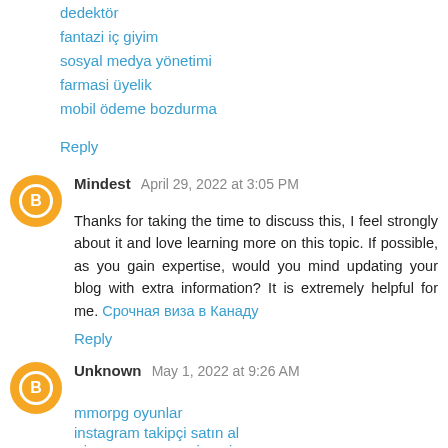dedektör
fantazi iç giyim
sosyal medya yönetimi
farmasi üyelik
mobil ödeme bozdurma
Reply
Mindest  April 29, 2022 at 3:05 PM
Thanks for taking the time to discuss this, I feel strongly about it and love learning more on this topic. If possible, as you gain expertise, would you mind updating your blog with extra information? It is extremely helpful for me. Срочная виза в Канаду
Reply
Unknown  May 1, 2022 at 9:26 AM
mmorpg oyunlar
instagram takipçi satın al
TİKTOK JETON HİLESİ